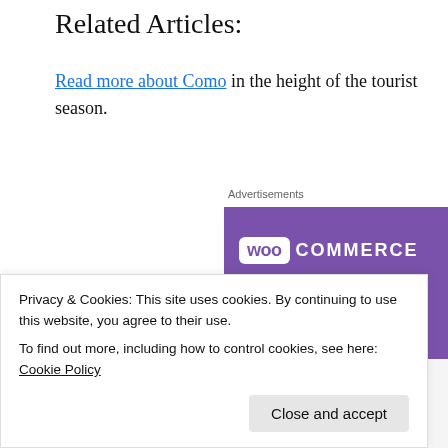Related Articles:
Read more about Como in the height of the tourist season.
[Figure (other): WooCommerce advertisement banner showing logo on purple background with teal triangle, and text 'How to start selling subscriptions online' with a 'Start a new store' button]
Privacy & Cookies: This site uses cookies. By continuing to use this website, you agree to their use.
To find out more, including how to control cookies, see here: Cookie Policy
Close and accept